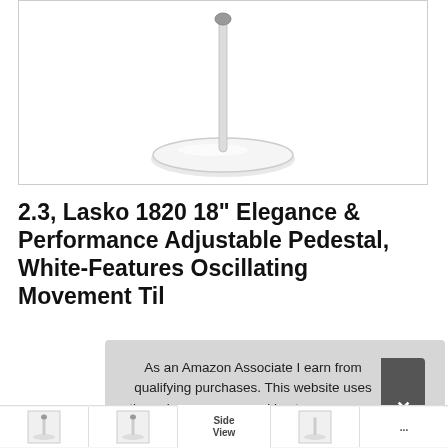[Figure (photo): White pedestal fan with oval base and thin vertical pole, shown on white background inside a bordered image frame]
2.3, Lasko 1820 18" Elegance & Performance Adjustable Pedestal, White-Features Oscillating Movement Til...
#ad
As an Amazon Associate I earn from qualifying purchases. This website uses the only necessary cookies to ensure you get the best experience on our website. More information